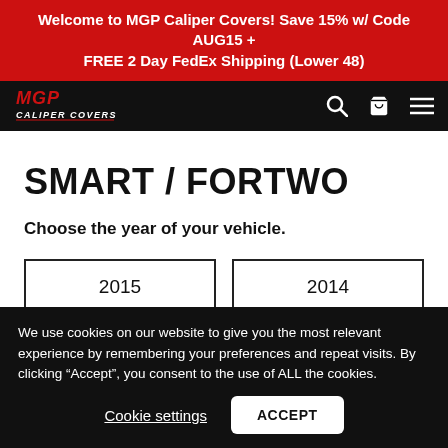Welcome to MGP Caliper Covers! Save 15% w/ Code AUG15 + FREE 2 Day FedEx Shipping (Lower 48)
[Figure (logo): MGP Caliper Covers logo in red/white on black nav bar with search, cart, and menu icons]
SMART / FORTWO
Choose the year of your vehicle.
2015
2014
We use cookies on our website to give you the most relevant experience by remembering your preferences and repeat visits. By clicking “Accept”, you consent to the use of ALL the cookies.
Cookie settings   ACCEPT